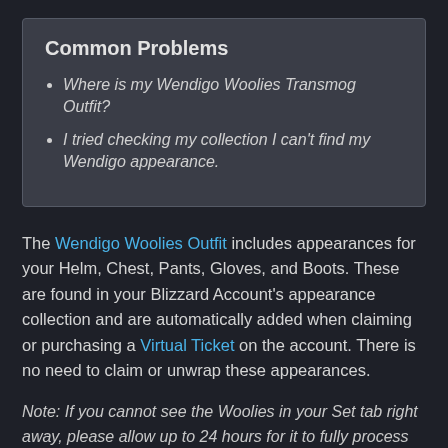Common Problems
Where is my Wendigo Woolies Transmog Outfit?
I tried checking my collection I can't find my Wendigo appearance.
The Wendigo Woolies Outfit includes appearances for your Helm, Chest, Pants, Gloves, and Boots. These are found in your Blizzard Account's appearance collection and are automatically added when claiming or purchasing a Virtual Ticket on the account. There is no need to claim or unwrap these appearances.
Note: If you cannot see the Woolies in your Set tab right away, please allow up to 24 hours for it to fully process and deliver to your collection.